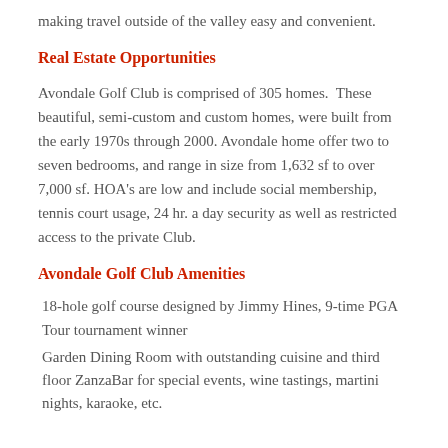making travel outside of the valley easy and convenient.
Real Estate Opportunities
Avondale Golf Club is comprised of 305 homes. These beautiful, semi-custom and custom homes, were built from the early 1970s through 2000. Avondale home offer two to seven bedrooms, and range in size from 1,632 sf to over 7,000 sf. HOA's are low and include social membership, tennis court usage, 24 hr. a day security as well as restricted access to the private Club.
Avondale Golf Club Amenities
18-hole golf course designed by Jimmy Hines, 9-time PGA Tour tournament winner
Garden Dining Room with outstanding cuisine and third floor ZanzaBar for special events, wine tastings, martini nights, karaoke, etc.